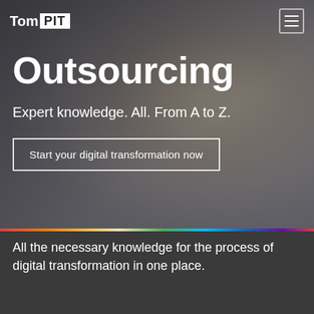[Figure (screenshot): Website hero section with blond woman smiling in the background, dark overlay. TomPIT logo in top left, hamburger menu icon in top right.]
Tom PIT
Outsourcing
Expert knowledge. All. From A to Z.
Start your digital transformation now
All the necessary knowledge for the process of digital transformation in one place.